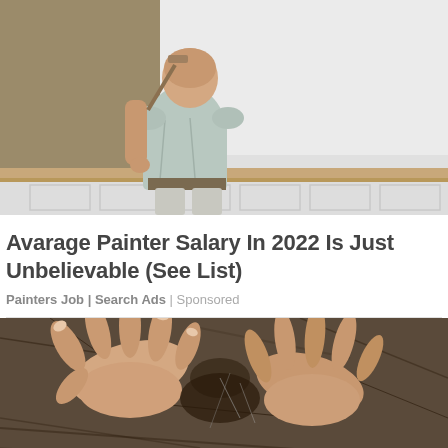[Figure (photo): A bald man in a light blue shirt painting a wall white with a paint roller, viewed from behind. He is wearing work clothes and a tool belt. The room has olive/tan colored walls and white wainscoting.]
Avarage Painter Salary In 2022 Is Just Unbelievable (See List)
Painters Job | Search Ads | Sponsored
[Figure (photo): Close-up photo of human hands with fingers spread, appearing to part or examine dark fur or hair of an animal.]